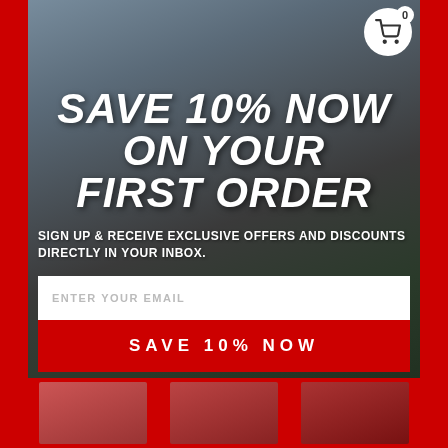[Figure (photo): Woman in gray t-shirt standing in front of a black truck with orange cab lights, serving as background for a promotional popup]
SAVE 10% NOW ON YOUR FIRST ORDER
SIGN UP & RECEIVE EXCLUSIVE OFFERS AND DISCOUNTS DIRECTLY IN YOUR INBOX.
ENTER YOUR EMAIL
SAVE 10% NOW
[Figure (photo): Product thumbnail images shown in bottom strip]